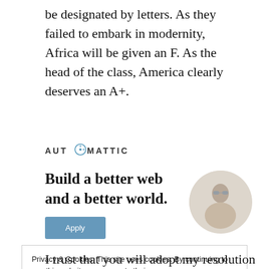be designated by letters. As they failed to embark in modernity, Africa will be given an F. As the head of the class, America clearly deserves an A+.
[Figure (logo): Automattic logo with circular compass-style icon replacing the letter O]
[Figure (infographic): Automattic advertisement: 'Build a better web and a better world.' with an Apply button and a photo of a person in a circular frame]
Privacy & Cookies: This site uses cookies. By continuing to use this website, you agree to their use.
To find out more, including how to control cookies, see here:
Cookie Policy
Close and accept
I trust that you will adopt my resolution